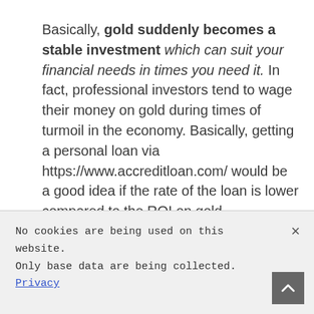Basically, gold suddenly becomes a stable investment which can suit your financial needs in times you need it. In fact, professional investors tend to wage their money on gold during times of turmoil in the economy. Basically, getting a personal loan via https://www.accreditloan.com/ would be a good idea if the rate of the loan is lower compared to the ROI on gold.
Personal loan as payment to gold investment
No cookies are being used on this website. Only base data are being collected. Privacy